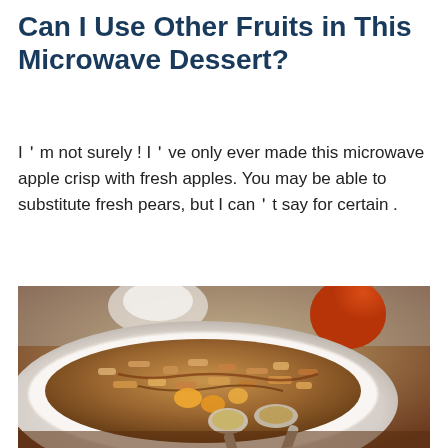Can I Use Other Fruits in This Microwave Dessert?
I’m not surely ! I’ve only ever made this microwave apple crisp with fresh apples. You may be able to substitute fresh pears, but I can’t say for certain .
[Figure (photo): Close-up photo of a white bowl containing microwave apple crisp with oat topping and caramel sauce, with two spoons scooping out the dessert. An apple and whipped cream visible in background.]